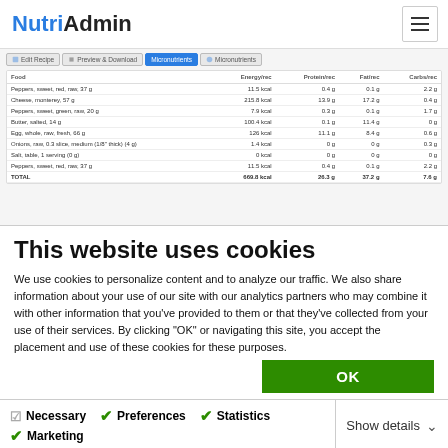NutriAdmin
[Figure (screenshot): NutriAdmin web app screenshot showing a nutrition table with tabs (Edit Recipe, Preview & Download, Micronutrients) and rows for foods including Peppers sweet red raw, Cheese monterey, Peppers sweet green raw, Butter salted, Egg whole raw fresh, Onions raw, Salt table, Peppers sweet red raw, with a TOTAL row showing 669.8 kcal, 26.3 g protein, 37.2 g fat, 7.6 g carbs]
This website uses cookies
We use cookies to personalize content and to analyze our traffic. We also share information about your use of our site with our analytics partners who may combine it with other information that you've provided to them or that they've collected from your use of their services. By clicking "OK" or navigating this site, you accept the placement and use of these cookies for these purposes.
OK
Necessary   Preferences   Statistics   Marketing   Show details